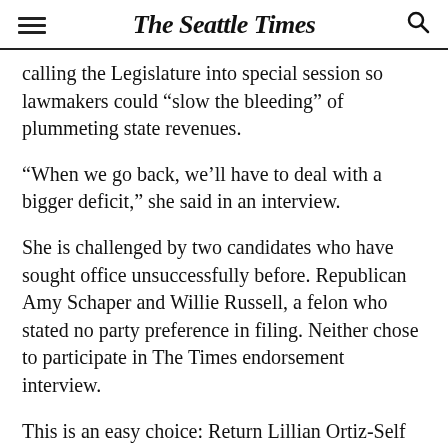The Seattle Times
calling the Legislature into special session so lawmakers could “slow the bleeding” of plummeting state revenues.
“When we go back, we’ll have to deal with a bigger deficit,” she said in an interview.
She is challenged by two candidates who have sought office unsuccessfully before. Republican Amy Schaper and Willie Russell, a felon who stated no party preference in filing. Neither chose to participate in The Times endorsement interview.
This is an easy choice: Return Lillian Ortiz-Self to the Legislature.